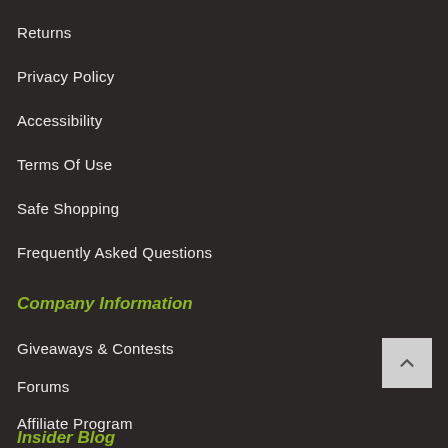Returns
Privacy Policy
Accessibility
Terms Of Use
Safe Shopping
Frequently Asked Questions
Company Information
Giveaways & Contests
Forums
Affiliate Program
Insider Blog